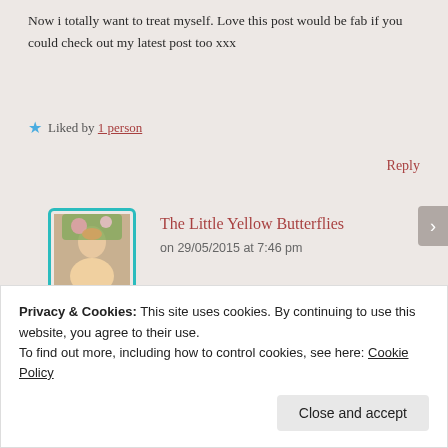Now i totally want to treat myself. Love this post would be fab if you could check out my latest post too xxx
★ Liked by 1 person
Reply
The Little Yellow Butterflies
on 29/05/2015 at 7:46 pm
Do it!! I'll check you out now 🙂 xxx
Privacy & Cookies: This site uses cookies. By continuing to use this website, you agree to their use.
To find out more, including how to control cookies, see here: Cookie Policy
Close and accept